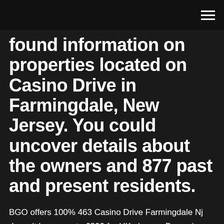found information on properties located on Casino Drive in Farmingdale, New Jersey. You could uncover details about the owners and 877 past and present residents.
BGO offers 100% 463 Casino Drive Farmingdale Nj deposit bonus up to £200 for UK players. Bonus is active for 7 days from activation and it can only be played on selected games. Wagering requirement on 40x before you can make 463 Casino Drive Farmingdale Nj a withdrawal and wagering is with real money first. Game contribution weightings apply to wagering requirements. Maximum bet